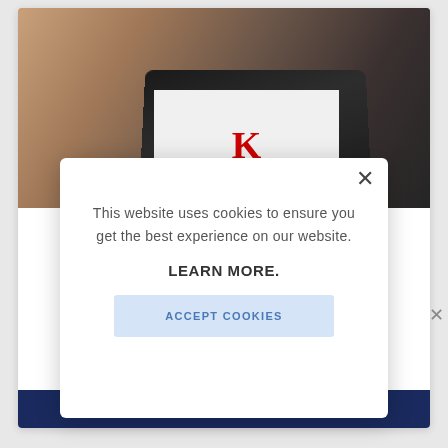[Figure (screenshot): Background website page showing a photo of a person using a laptop with a tablet/laptop device showing a red letter K on screen, and a dark blue banner at the bottom with yellow text '$250 FREE' partially visible]
This website uses cookies to ensure you get the best experience on our website.
LEARN MORE.
ACCEPT COOKIES